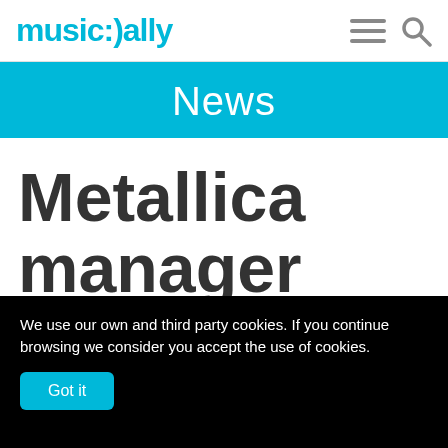music:)ally
News
Metallica manager calls YouTube 'the
We use our own and third party cookies. If you continue browsing we consider you accept the use of cookies.